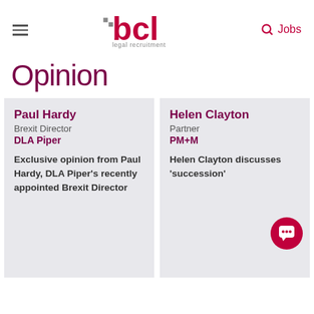[Figure (logo): BCL Legal Recruitment logo with hamburger menu and Jobs search icon in header]
Opinion
Paul Hardy
Brexit Director
DLA Piper

Exclusive opinion from Paul Hardy, DLA Piper's recently appointed Brexit Director
Helen Clayton
Partner
PM+M

Helen Clayton discusses 'succession'